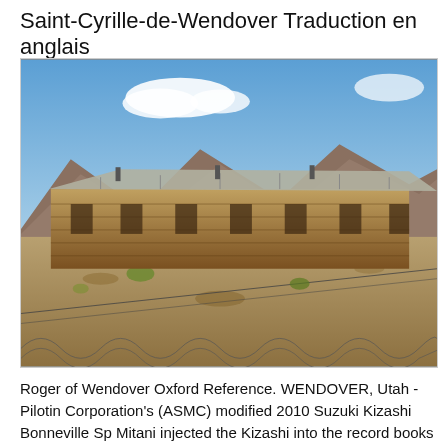Saint-Cyrille-de-Wendover Traduction en anglais
[Figure (photo): Photograph of old wooden barracks-style buildings in a dry desert landscape with mountains in the background. A chain-link fence is visible in the foreground, and dry scrubby vegetation dots the sandy ground.]
Roger of Wendover Oxford Reference. WENDOVER, Utah - Pilotin Corporation's (ASMC) modified 2010 Suzuki Kizashi Bonneville Sp Mitani injected the Kizashi into the record books (and himself in the